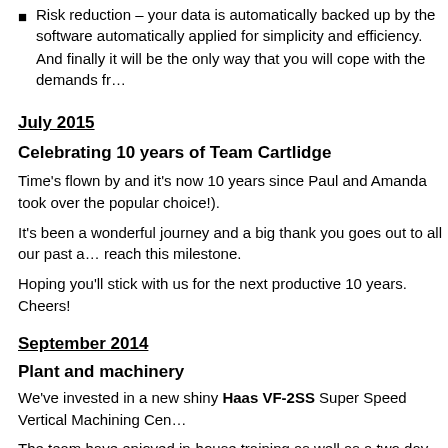Risk reduction – your data is automatically backed up by the software automatically applied for simplicity and efficiency.
And finally it will be the only way that you will cope with the demands fr…
July 2015
Celebrating 10 years of Team Cartlidge
Time's flown by and it's now 10 years since Paul and Amanda took over th… popular choice!).
It's been a wonderful journey and a big thank you goes out to all our past a… reach this milestone.
Hoping you'll stick with us for the next productive 10 years. Cheers!
September 2014
Plant and machinery
We've invested in a new shiny Haas VF-2SS Super Speed Vertical Machining Ce…
The team have enjoyed in-house training as well as a two day course at Haas Auto…
August 2014
Congratulations go to Andy Little for 20 years service. 1994 to 2014. The t… Only another 20 more to go Andy!